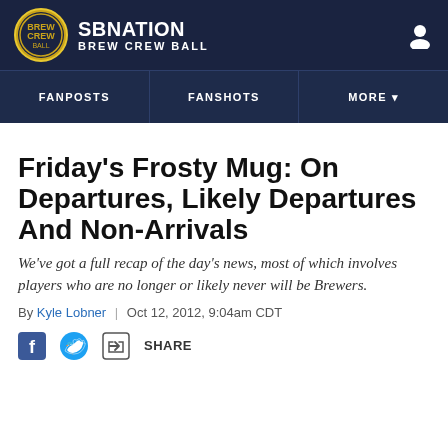SBNation | BREW CREW BALL
Friday's Frosty Mug: On Departures, Likely Departures And Non-Arrivals
We've got a full recap of the day's news, most of which involves players who are no longer or likely never will be Brewers.
By Kyle Lobner | Oct 12, 2012, 9:04am CDT